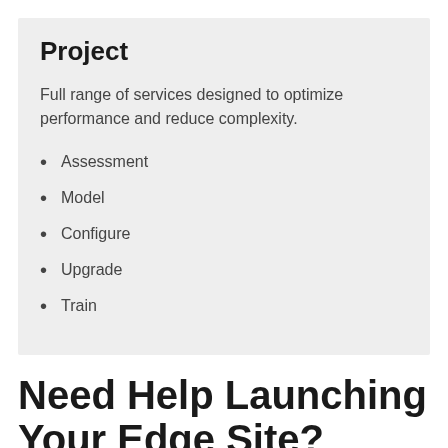Project
Full range of services designed to optimize performance and reduce complexity.
Assessment
Model
Configure
Upgrade
Train
Need Help Launching Your Edge Site?
Contact your local Vertiv office to begin a discussion